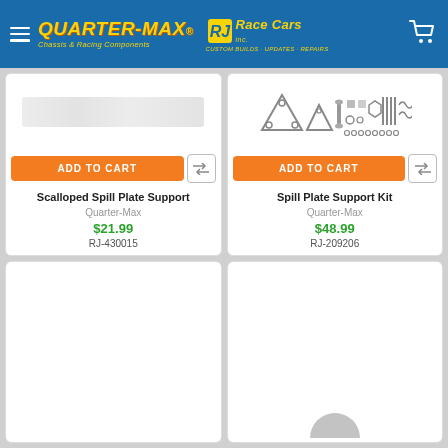Quarter-Max Chassis & Racing Components / RJ Race Cars Inc. Custom Builds · Updates · Repairs
[Figure (photo): Product image for Scalloped Spill Plate Support (blurred/placeholder)]
ADD TO CART
Scalloped Spill Plate Support
Quarter-Max
$21.99
RJ-430015
[Figure (photo): Product image for Spill Plate Support Kit showing hardware components including brackets, bolts, and fasteners]
ADD TO CART
Spill Plate Support Kit
Quarter-Max
$48.99
RJ-209206
[Figure (photo): Product image for third product (partially visible, cut off at bottom)]
[Figure (photo): Product image for fourth product (partially visible, cut off at bottom)]